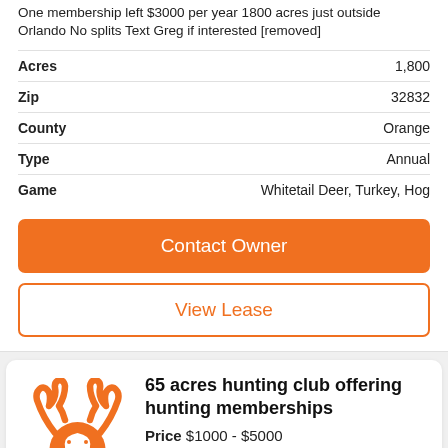One membership left $3000 per year 1800 acres just outside Orlando No splits Text Greg if interested [removed]
| Field | Value |
| --- | --- |
| Acres | 1,800 |
| Zip | 32832 |
| County | Orange |
| Type | Annual |
| Game | Whitetail Deer, Turkey, Hog |
Contact Owner
View Lease
[Figure (logo): Orange deer head / location pin logo icon]
65 acres hunting club offering hunting memberships Price $1000 - $5000